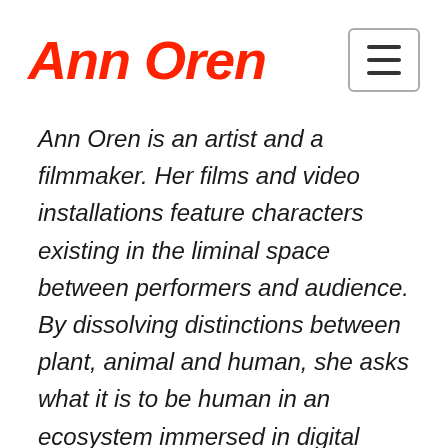Ann Oren
Ann Oren is an artist and a filmmaker. Her films and video installations feature characters existing in the liminal space between performers and audience. By dissolving distinctions between plant, animal and human, she asks what it is to be human in an ecosystem immersed in digital culture. Questions about intimacy,